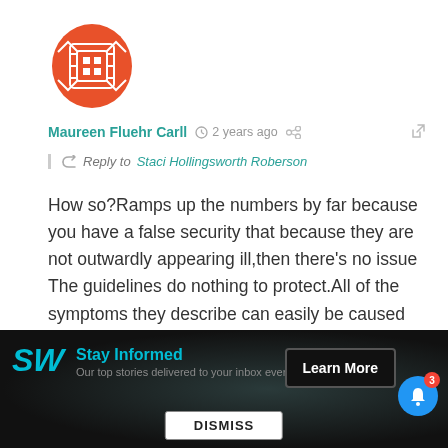[Figure (logo): Red/orange oval logo with geometric white lattice pattern]
Maureen Fluehr Carll   2 years ago
Reply to Staci Hollingsworth Roberson
How so?Ramps up the numbers by far because you have a false security that because they are not outwardly appearing ill,then there’s no issue The guidelines do nothing to protect.All of the symptoms they describe can easily be caused by illness much more benign than COVID.Where’s the rush to return to the water,even China has pulled back on their
[Figure (screenshot): Dark banner ad: SW logo, Stay Informed text, Learn More button, notification bell with badge 3, DISMISS button]